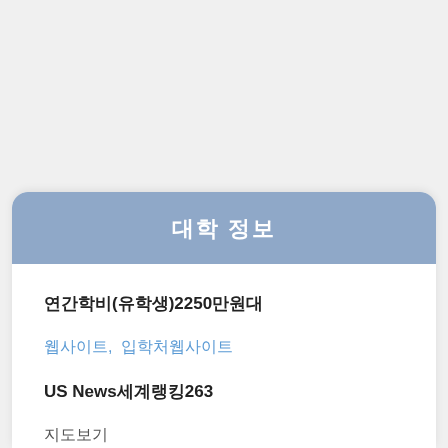대학 정보
연간학비(유학생)2250만원대
웹사이트,  입학처웹사이트
US News세계랭킹263
지도보기